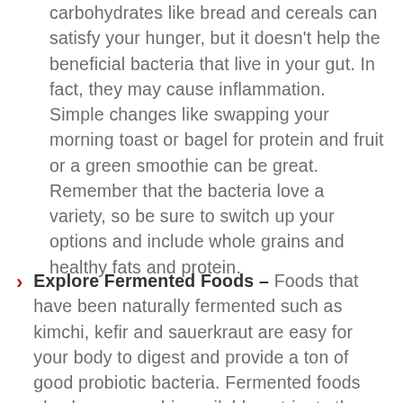carbohydrates like bread and cereals can satisfy your hunger, but it doesn't help the beneficial bacteria that live in your gut. In fact, they may cause inflammation. Simple changes like swapping your morning toast or bagel for protein and fruit or a green smoothie can be great. Remember that the bacteria love a variety, so be sure to switch up your options and include whole grains and healthy fats and protein.
Explore Fermented Foods – Foods that have been naturally fermented such as kimchi, kefir and sauerkraut are easy for your body to digest and provide a ton of good probiotic bacteria. Fermented foods also have more bioavailable nutrients than the original item does non-fermented.